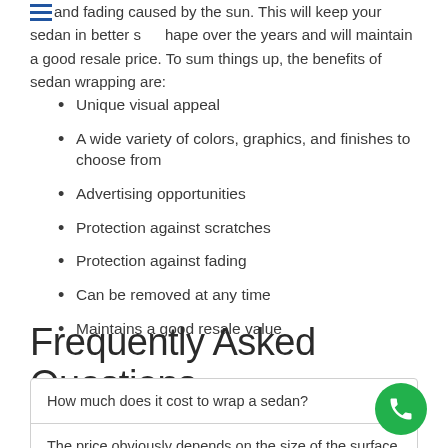and fading caused by the sun. This will keep your sedan in better shape over the years and will maintain a good resale price. To sum things up, the benefits of sedan wrapping are:
Unique visual appeal
A wide variety of colors, graphics, and finishes to choose from
Advertising opportunities
Protection against scratches
Protection against fading
Can be removed at any time
Maintains a good resale value
Frequently Asked Questions
How much does it cost to wrap a sedan?
The price obviously depends on the size of the surface you